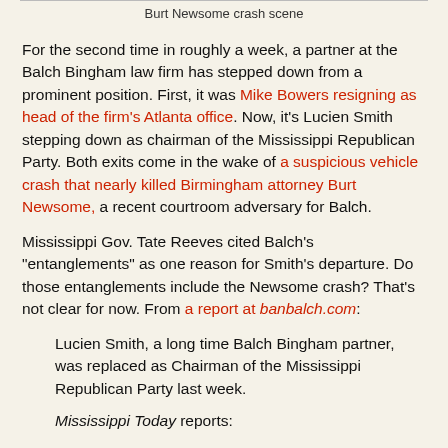Burt Newsome crash scene
For the second time in roughly a week, a partner at the Balch Bingham law firm has stepped down from a prominent position. First, it was Mike Bowers resigning as head of the firm's Atlanta office. Now, it's Lucien Smith stepping down as chairman of the Mississippi Republican Party. Both exits come in the wake of a suspicious vehicle crash that nearly killed Birmingham attorney Burt Newsome, a recent courtroom adversary for Balch.
Mississippi Gov. Tate Reeves cited Balch's "entanglements" as one reason for Smith's departure. Do those entanglements include the Newsome crash? That's not clear for now. From a report at banbalch.com:
Lucien Smith, a long time Balch Bingham partner, was replaced as Chairman of the Mississippi Republican Party last week.
Mississippi Today reports: